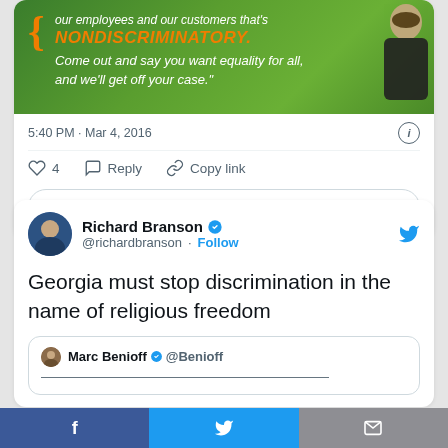[Figure (screenshot): Green banner with orange brace, text reading NONDISCRIMINATORY and quote about equality in white italic text, with photo of man in suit on right side]
5:40 PM · Mar 4, 2016
♡ 4   Reply   Copy link
Explore what's happening on Twitter
Richard Branson @richardbranson · Follow
Georgia must stop discrimination in the name of religious freedom
Marc Benioff @Benioff